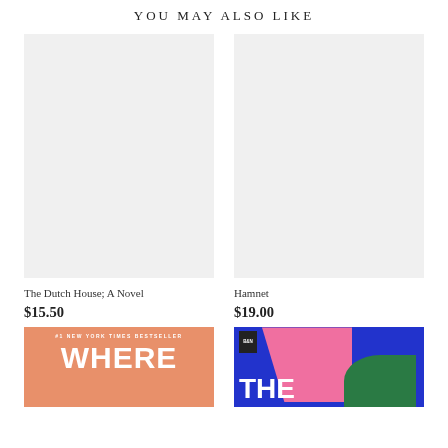YOU MAY ALSO LIKE
[Figure (photo): Gray placeholder book cover for The Dutch House: A Novel]
The Dutch House; A Novel
$15.50
[Figure (photo): Gray placeholder book cover for Hamnet]
Hamnet
$19.00
[Figure (photo): Book cover for 'Where' - orange/salmon colored cover with #1 New York Times Bestseller banner]
[Figure (photo): Book cover for 'The' - blue background with pink and green abstract shapes]